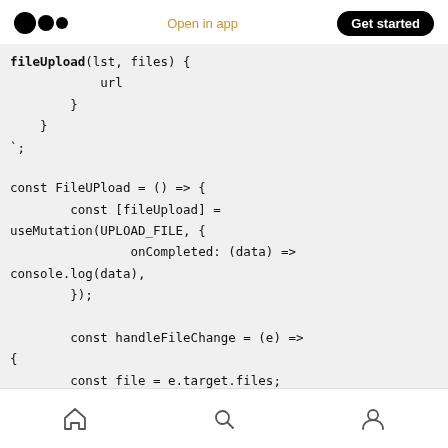Medium logo | Open in app | Get started
fileUpload(lst, files) {
            url
        }
    }
`;

const FileUPload = () => {
        const [fileUpload] =
useMutation(UPLOAD_FILE, {
                onCompleted: (data) =>
console.log(data),
        });

        const handleFileChange = (e) =>
{
        const file = e.target.files;
        if (!file) return;
        fileUpload({ variables: { file
}}}
Home | Search | Profile